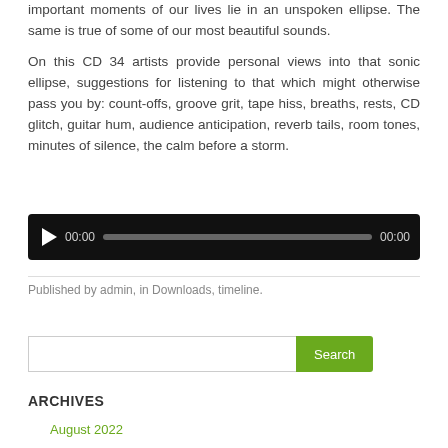important moments of our lives lie in an unspoken ellipse. The same is true of some of our most beautiful sounds.
On this CD 34 artists provide personal views into that sonic ellipse, suggestions for listening to that which might otherwise pass you by: count-offs, groove grit, tape hiss, breaths, rests, CD glitch, guitar hum, audience anticipation, reverb tails, room tones, minutes of silence, the calm before a storm.
[Figure (other): Audio player widget with play button, time display 00:00, progress bar, and duration 00:00 on black background]
Published by admin, in Downloads, timeline.
[Figure (other): Search box with text input field and green Search button]
ARCHIVES
August 2022